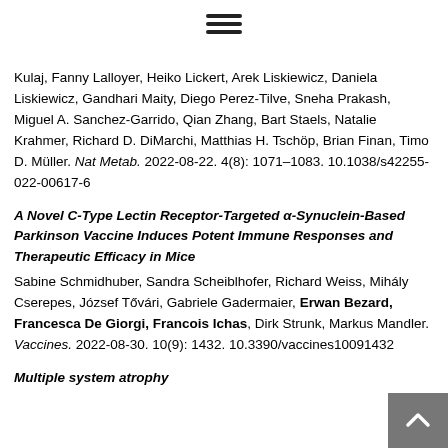[Figure (other): Hamburger menu icon with three horizontal lines]
Kulaj, Fanny Lalloyer, Heiko Lickert, Arek Liskiewicz, Daniela Liskiewicz, Gandhari Maity, Diego Perez-Tilve, Sneha Prakash, Miguel A. Sanchez-Garrido, Qian Zhang, Bart Staels, Natalie Krahmer, Richard D. DiMarchi, Matthias H. Tschöp, Brian Finan, Timo D. Müller. Nat Metab. 2022-08-22. 4(8): 1071-1083. 10.1038/s42255-022-00617-6
A Novel C-Type Lectin Receptor-Targeted α-Synuclein-Based Parkinson Vaccine Induces Potent Immune Responses and Therapeutic Efficacy in Mice
Sabine Schmidhuber, Sandra Scheiblhofer, Richard Weiss, Mihály Cserepes, József Tővári, Gabriele Gadermaier, Erwan Bezard, Francesca De Giorgi, Francois Ichas, Dirk Strunk, Markus Mandler. Vaccines. 2022-08-30. 10(9): 1432. 10.3390/vaccines10091432
Multiple system atrophy